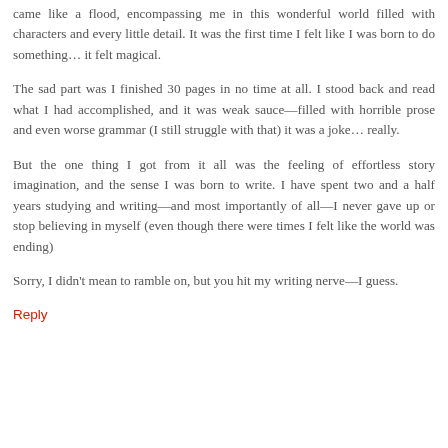came like a flood, encompassing me in this wonderful world filled with characters and every little detail. It was the first time I felt like I was born to do something… it felt magical.
The sad part was I finished 30 pages in no time at all. I stood back and read what I had accomplished, and it was weak sauce—filled with horrible prose and even worse grammar (I still struggle with that) it was a joke… really.
But the one thing I got from it all was the feeling of effortless story imagination, and the sense I was born to write. I have spent two and a half years studying and writing—and most importantly of all—I never gave up or stop believing in myself (even though there were times I felt like the world was ending)
Sorry, I didn't mean to ramble on, but you hit my writing nerve—I guess.
Reply